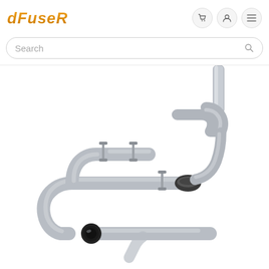[Figure (logo): DFuser logo in italic bold orange/gold gradient text]
[Figure (screenshot): Website header with search bar and navigation icons (cart, user, menu)]
[Figure (photo): Product photo of an aluminum aftermarket diesel truck exhaust system with S-bend pipe, muffler delete, mounting brackets, and downward-angled tip]